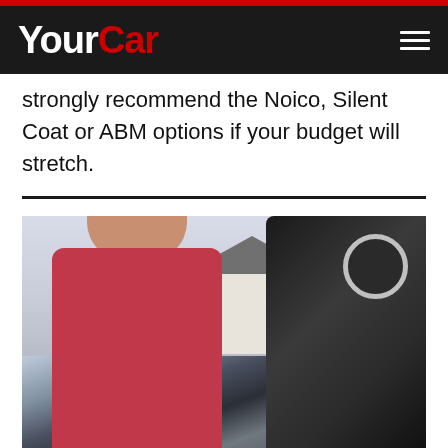YourCar
strongly recommend the Noico, Silent Coat or ABM options if your budget will stretch.
[Figure (photo): A man in a red t-shirt looking under the open hood of a dark car, parked outside a house on a sunny day.]